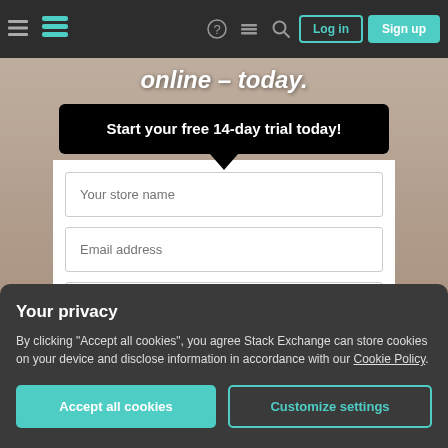Navigation bar with hamburger menu, Stack Exchange logo, icons (help, stack exchange, search), Log in and Sign up buttons
online – today.
Start your free 14-day trial today!
[Figure (screenshot): Web form with two visible input fields: 'Your store name' and 'Email address' on a white background]
Your privacy
By clicking "Accept all cookies", you agree Stack Exchange can store cookies on your device and disclose information in accordance with our Cookie Policy.
Accept all cookies
Customize settings